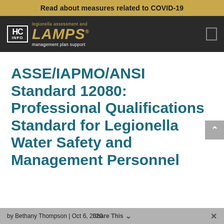Read about measures related to COVID-19
[Figure (logo): HC INFO LAMPS logo — legionella assessment and management plan support, gold and white text on dark background]
ASSE/IAPMO/ANSI Standard 12080: Professional Qualifications Standard for Legionella Water Safety and Management Personnel
by Bethany Thompson | Oct 6, 2020  Share This  ×